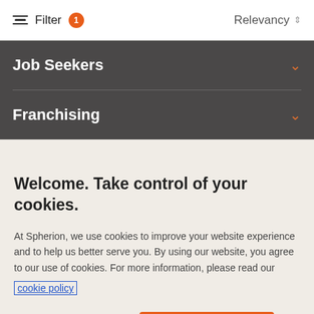Filter 1    Relevancy
Job Seekers
Franchising
Welcome. Take control of your cookies.
At Spherion, we use cookies to improve your website experience and to help us better serve you. By using our website, you agree to our use of cookies. For more information, please read our cookie policy
Cookies Settings
Accept Cookies